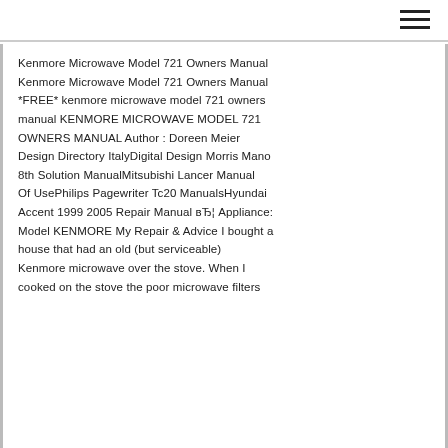Kenmore Microwave Model 721 Owners Manual Kenmore Microwave Model 721 Owners Manual *FREE* kenmore microwave model 721 owners manual KENMORE MICROWAVE MODEL 721 OWNERS MANUAL Author : Doreen Meier Design Directory ItalyDigital Design Morris Mano 8th Solution ManualMitsubishi Lancer Manual Of UsePhilips Pagewriter Tc20 ManualsHyundai Accent 1999 2005 Repair Manual вЂ¦ Appliance: Model KENMORE My Repair & Advice I bought a house that had an old (but serviceable) Kenmore microwave over the stove. When I cooked on the stove the poor microwave filters